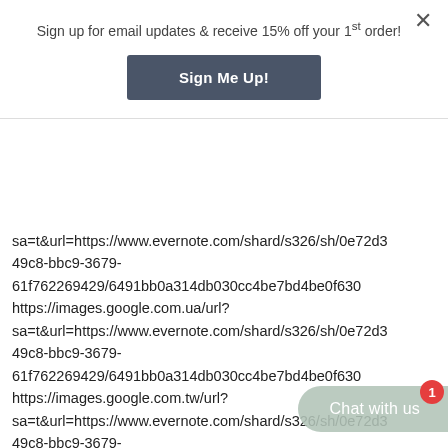Sign up for email updates & receive 15% off your 1st order!
[Figure (other): Sign Me Up! button - dark slate blue rounded rectangle button]
sa=t&url=https://www.evernote.com/shard/s326/sh/0e72d3-49c8-bbc9-3679-61f762269429/6491bb0a314db030cc4be7bd4be0f630 https://images.google.com.ua/url?sa=t&url=https://www.evernote.com/shard/s326/sh/0e72d3-49c8-bbc9-3679-61f762269429/6491bb0a314db030cc4be7bd4be0f630 https://images.google.com.tw/url?sa=t&url=https://www.evernote.com/shard/s326/sh/0e72d3-49c8-bbc9-3679-61f762269429/6491bb0a314db030cc4be0f630 https://images.google.com.tr/url?sa=t&url=https://www.evernote.com/shard/s326/sh/0e72d3-49c8-bbc9-3679-
[Figure (other): Chat with us widget bubble in muted green with red badge showing 1]